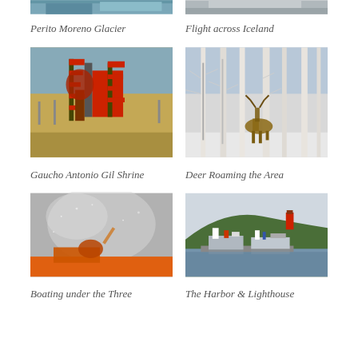[Figure (photo): Perito Moreno Glacier — partially visible at top of page, cropped]
Perito Moreno Glacier
[Figure (photo): Flight across Iceland — partially visible at top of page, cropped]
Flight across Iceland
[Figure (photo): Gaucho Antonio Gil Shrine — outdoor shrine with red flags and decorations in a flat landscape]
Gaucho Antonio Gil Shrine
[Figure (photo): Deer Roaming the Area — deer among white birch trees in winter]
Deer Roaming the Area
[Figure (photo): Boating under the Three — person on boat in misty/spray conditions]
Boating under the Three
[Figure (photo): The Harbor & Lighthouse — harbor with boats and a lighthouse on a hill]
The Harbor & Lighthouse